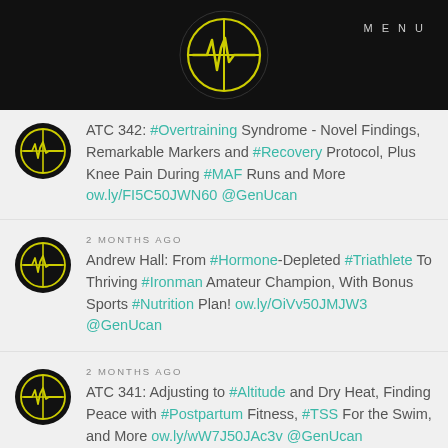MENU
[Figure (logo): Circular logo with yellow heartbeat/EKG line and crosshair design on black background]
ATC 342: #Overtraining Syndrome - Novel Findings, Remarkable Markers and #Recovery Protocol, Plus Knee Pain During #MAF Runs and More ow.ly/FI5C50JWN60 @GenUcan
2 MONTHS AGO
Andrew Hall: From #Hormone-Depleted #Triathlete To Thriving #Ironman Amateur Champion, With Bonus Sports #Nutrition Plan! ow.ly/OiVv50JMJW3 @GenUcan
2 MONTHS AGO
ATC 341: Adjusting to #Altitude and Dry Heat, Finding Peace with #Postpartum Fitness, #TSS For the Swim, and More ow.ly/wW7J50JAc3v @GenUcan